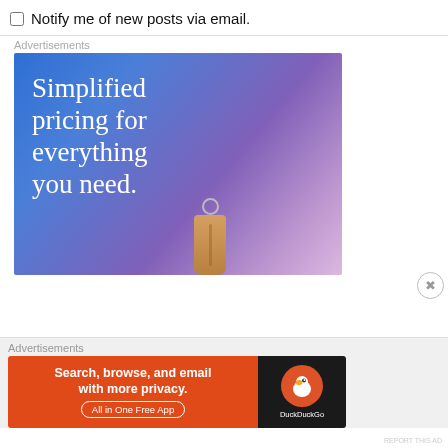Notify me of new posts via email.
Advertisements
[Figure (illustration): Advertisement banner with gradient blue-to-purple background showing text 'Simplified pricing for everything you need.' with a price tag visual element below]
Advertisements
[Figure (illustration): DuckDuckGo advertisement banner: 'Search, browse, and email with more privacy. All in One Free App' with DuckDuckGo logo on dark background]